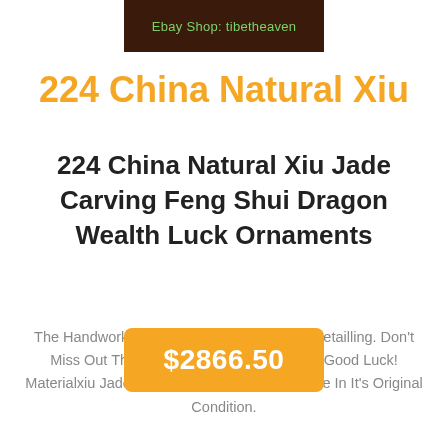[Figure (photo): Dark brown carved object on dark background with green text overlay reading 'Ebay Shop: tibetheaven']
224 China Natural Xiu
224 China Natural Xiu Jade Carving Feng Shui Dragon Wealth Luck Ornaments
The Handwork Is Very Fine With Incredible Detailling. Don't Miss Out This Chance To Get It. Wish You Good Luck! Materialxiu Jade Originchina. The Item Must Be In It's Original Condition.
$2866.50